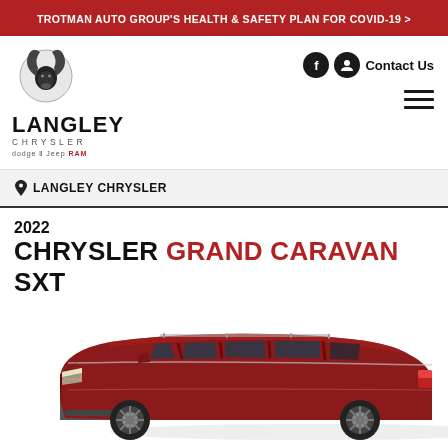TROTMAN AUTO GROUP'S HEALTH & SAFETY PLAN FOR COVID-19 >
[Figure (logo): Langley Chrysler dealership logo with Ram head emblem, text LANGLEY CHRYSLER Dodge Jeep Ram]
Contact Us
LANGLEY CHRYSLER
2022 CHRYSLER GRAND CARAVAN SXT
[Figure (photo): 2022 Chrysler Grand Caravan SXT in dark red/maroon color, three-quarter front view on white background]